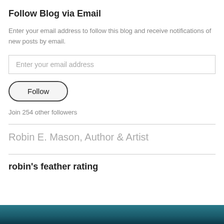Follow Blog via Email
Enter your email address to follow this blog and receive notifications of new posts by email.
Enter your email address
Follow
Join 254 other followers
Robin E. Mason, Author & Artist
robin's feather rating
[Figure (other): Teal/dark gradient bar at the bottom of the page, partial image cut off]